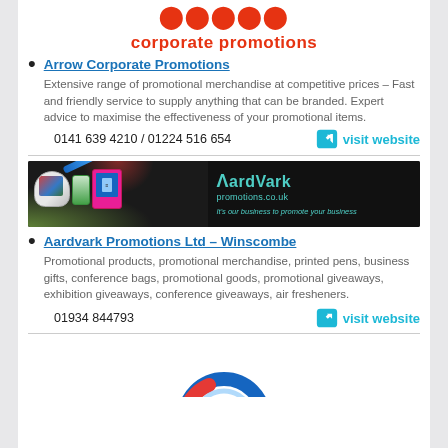[Figure (logo): Arrow Corporate Promotions logo with red text 'corporate promotions']
Arrow Corporate Promotions – Extensive range of promotional merchandise at competitive prices – Fast and friendly service to supply anything that can be branded. Expert advice to maximise the effectiveness of your promotional items. 0141 639 4210 / 01224 516 654
[Figure (photo): Aardvark Promotions banner ad showing promotional items (mug, USB drive, tablet), with teal AardVark promotions.co.uk logo and tagline 'It's our business to promote your business']
Aardvark Promotions Ltd – Winscombe – Promotional products, promotional merchandise, printed pens, business gifts, conference bags, promotional goods, promotional giveaways, exhibition giveaways, conference giveaways, air fresheners. 01934 844793
[Figure (logo): Partial circular logo visible at bottom of page]